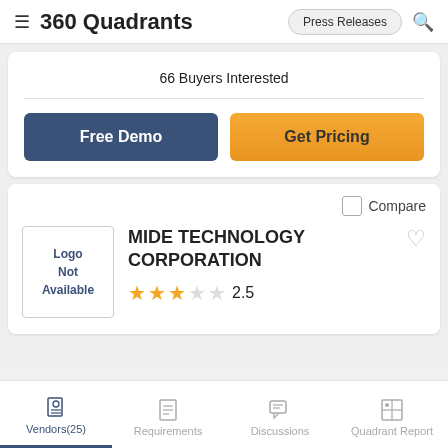360 Quadrants
66 Buyers Interested
Free Demo
Get Pricing
Compare
[Figure (logo): Logo Not Available placeholder box]
MIDE TECHNOLOGY CORPORATION
2.5 stars rating
Vendors(25)  Requirements  Discussions  Quadrant Report